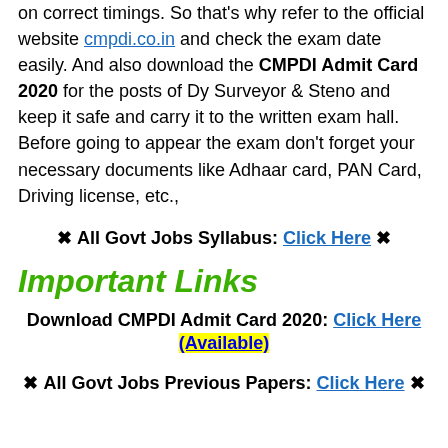on correct timings. So that's why refer to the official website cmpdi.co.in and check the exam date easily. And also download the CMPDI Admit Card 2020 for the posts of Dy Surveyor & Steno and keep it safe and carry it to the written exam hall. Before going to appear the exam don't forget your necessary documents like Adhaar card, PAN Card, Driving license, etc.,
❋ All Govt Jobs Syllabus: Click Here ❋
Important Links
Download CMPDI Admit Card 2020: Click Here (Available)
❋ All Govt Jobs Previous Papers: Click Here ❋